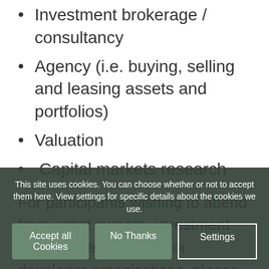Investment brokerage / consultancy
Agency (i.e. buying, selling and leasing assets and portfolios)
Valuation
Capital markets research
For participants wishing to attend from asset owners, investment management, lending or developer organisations, please refer to the Asset Owners & Managers Pathway.
Please note that the course has been developed to fulfil a particular industry skills development need and is intended for the audience described in the course prospectus document. The BRP and Hillbrook
This site uses cookies. You can choose whether or not to accept them here. View settings for specific details about the cookies we use.